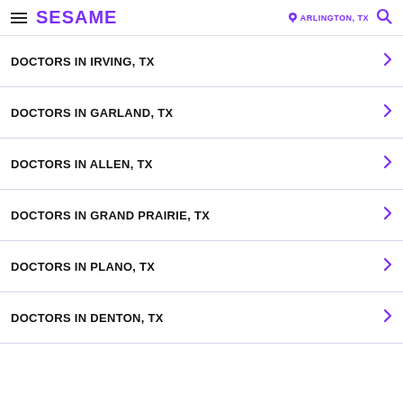SESAME | ARLINGTON, TX
DOCTORS IN IRVING, TX
DOCTORS IN GARLAND, TX
DOCTORS IN ALLEN, TX
DOCTORS IN GRAND PRAIRIE, TX
DOCTORS IN PLANO, TX
DOCTORS IN DENTON, TX